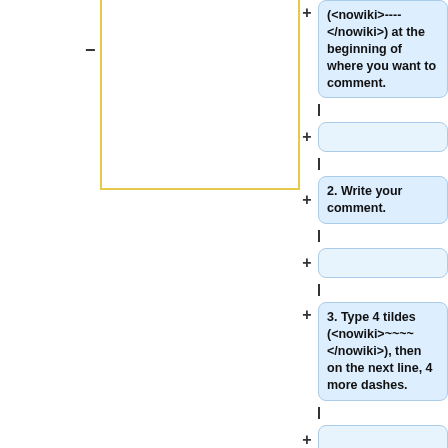[Figure (flowchart): Flowchart showing steps to comment on a wiki page. Left side has a yellow-bordered box with a minus sign. Right side shows a vertical sequence of steps connected by plus signs: step 1 ((<nowiki>----</nowiki>) at the beginning of where you want to comment), empty connector box, step 2 (Write your comment.), empty connector box, step 3 (Type 4 tildes (<nowiki>~~~~</nowiki>), then on the next line, 4 more dashes.), empty connector box, and a final box (It should look like this:).]